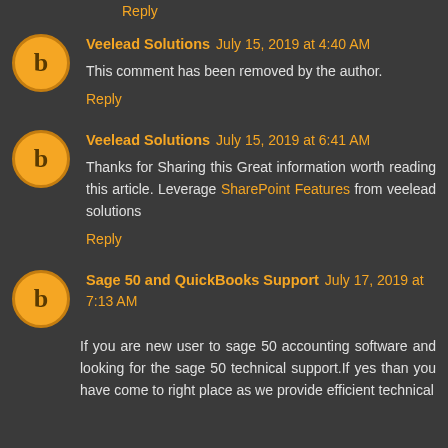Reply
Veelead Solutions July 15, 2019 at 4:40 AM
This comment has been removed by the author.
Reply
Veelead Solutions July 15, 2019 at 6:41 AM
Thanks for Sharing this Great information worth reading this article. Leverage SharePoint Features from veelead solutions
Reply
Sage 50 and QuickBooks Support July 17, 2019 at 7:13 AM
If you are new user to sage 50 accounting software and looking for the sage 50 technical support.If yes than you have come to right place as we provide efficient technical